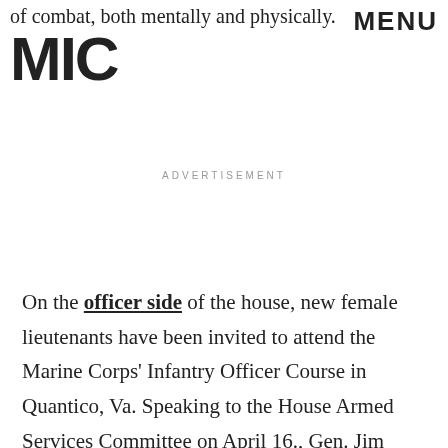of combat, both mentally and physically.
MENU
[Figure (logo): MIC logo in bold black block letters]
ADVERTISEMENT
On the officer side of the house, new female lieutenants have been invited to attend the Marine Corps' Infantry Officer Course in Quantico, Va. Speaking to the House Armed Services Committee on April 16., Gen. Jim Amos, the Commandant of the Marine Corps, had this to say on female volunteers heading for the course this year: